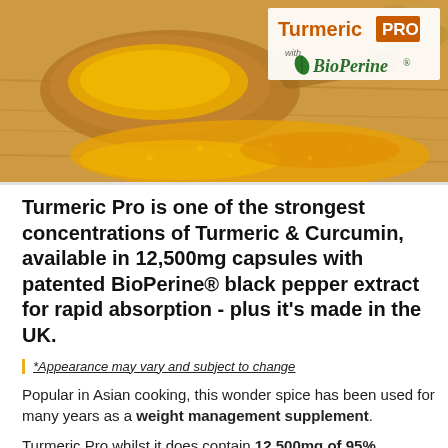[Figure (photo): A wooden spoon and bowl filled with bright yellow turmeric powder, spilling onto a wooden surface, with a ginger root visible in the background. The 'Turmeric PRO with BioPerine' logo is overlaid in the upper right corner.]
Turmeric Pro is one of the strongest concentrations of Turmeric & Curcumin, available in 12,500mg capsules with patented BioPerine® black pepper extract for rapid absorption - plus it's made in the UK.
*Appearance may vary and subject to change
Popular in Asian cooking, this wonder spice has been used for many years as a weight management supplement.
Turmeric Pro whilst it does contain 12,500mg of 95%